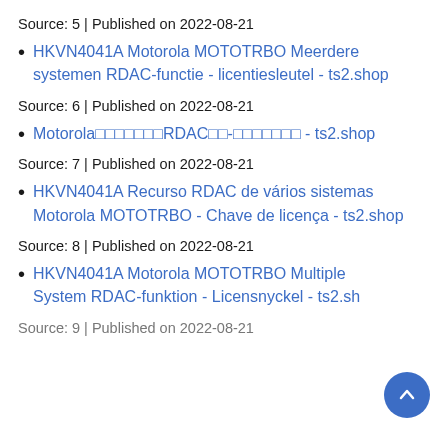Source: 5 | Published on 2022-08-21
HKVN4041A Motorola MOTOTRBO Meerdere systemen RDAC-functie - licentiesleutel - ts2.shop
Source: 6 | Published on 2022-08-21
Motorola囗囗囗囗囗囗囗RDAC囗囗-囗囗囗囗囗囗囗 - ts2.shop
Source: 7 | Published on 2022-08-21
HKVN4041A Recurso RDAC de vários sistemas Motorola MOTOTRBO - Chave de licença - ts2.shop
Source: 8 | Published on 2022-08-21
HKVN4041A Motorola MOTOTRBO Multiple System RDAC-funktion - Licensnyckel - ts2.sh…
Source: 9 | Published on 2022-08-21